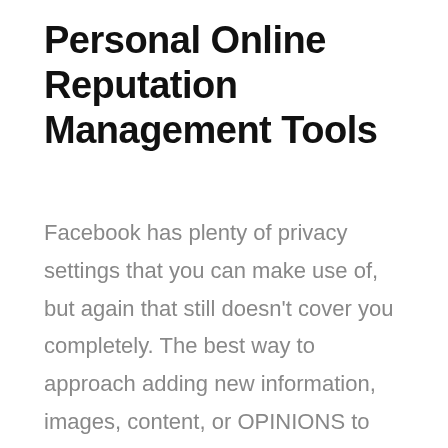Personal Online Reputation Management Tools
Facebook has plenty of privacy settings that you can make use of, but again that still doesn't cover you completely. The best way to approach adding new information, images, content, or OPINIONS to your profile is to assume that everyone and anyone can see